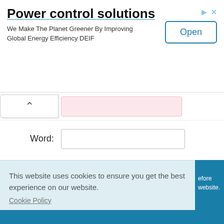[Figure (screenshot): Advertisement banner for 'Power control solutions' by DEIF with 'Open' button and ad controls (play/close icons)]
Word:
Add Comment
This website uses cookies to ensure you get the best experience on our website.
Cookie Policy
Got it!
efore website.